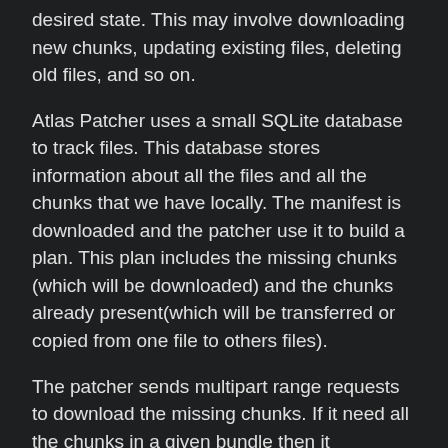desired state. This may involve downloading new chunks, updating existing files, deleting old files, and so on.
Atlas Patcher uses a small SQLite database to track files. This database stores information about all the files and all the chunks that we have locally. The manifest is downloaded and the patcher use it to build a plan. This plan includes the missing chunks (which will be downloaded) and the chunks already present(which will be transferred or copied from one file to others files).
The patcher sends multipart range requests to download the missing chunks. If it need all the chunks in a given bundle then it download the whole thing, but if it only need some of them then it send a range request to retrieve the appropriate byte ranges. Asking for multiple ranges helps reduce the number of HTTP requests. This is why it is important to use a CDN.
Results